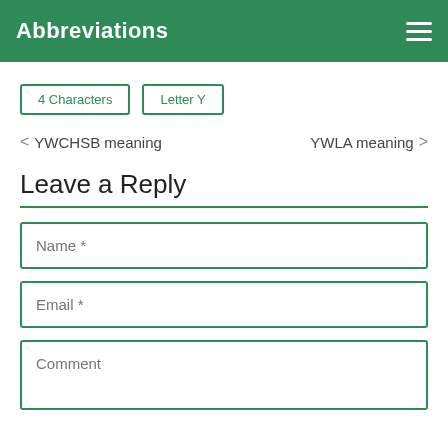Abbreviations
4 Characters
Letter Y
< YWCHSB meaning
YWLA meaning >
Leave a Reply
Name *
Email *
Comment